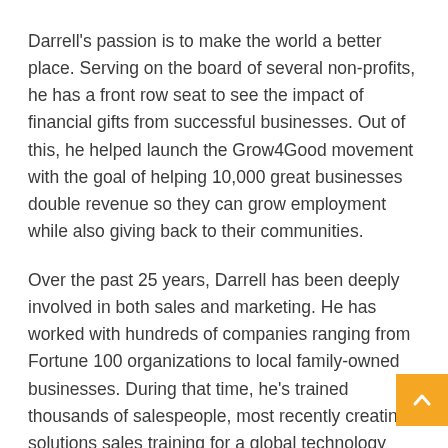Darrell's passion is to make the world a better place. Serving on the board of several non-profits, he has a front row seat to see the impact of financial gifts from successful businesses. Out of this, he helped launch the Grow4Good movement with the goal of helping 10,000 great businesses double revenue so they can grow employment while also giving back to their communities.
Over the past 25 years, Darrell has been deeply involved in both sales and marketing. He has worked with hundreds of companies ranging from Fortune 100 organizations to local family-owned businesses. During that time, he's trained thousands of salespeople, most recently creating solutions sales training for a global technology company. He's started several digital marketing agencies, helping companies implement inbound marketing strategies.